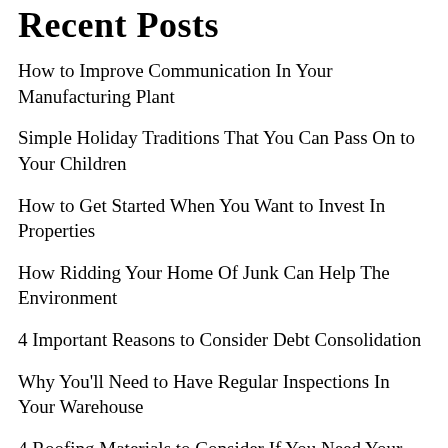Recent Posts
How to Improve Communication In Your Manufacturing Plant
Simple Holiday Traditions That You Can Pass On to Your Children
How to Get Started When You Want to Invest In Properties
How Ridding Your Home Of Junk Can Help The Environment
4 Important Reasons to Consider Debt Consolidation
Why You'll Need to Have Regular Inspections In Your Warehouse
4 Roofing Materials to Consider If You Need Your Roof…